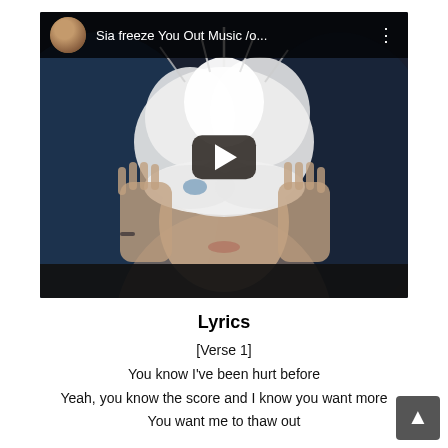[Figure (screenshot): YouTube video thumbnail showing a woman wearing a white feathered mask with hands raised to face. Video title bar reads 'Sia freeze You Out Music /o...' with a small circular avatar thumbnail and three-dot menu icon. A dark rounded play button is overlaid in the center of the video.]
Lyrics
[Verse 1]
You know I've been hurt before
Yeah, you know the score and I know you want more
You want me to thaw out